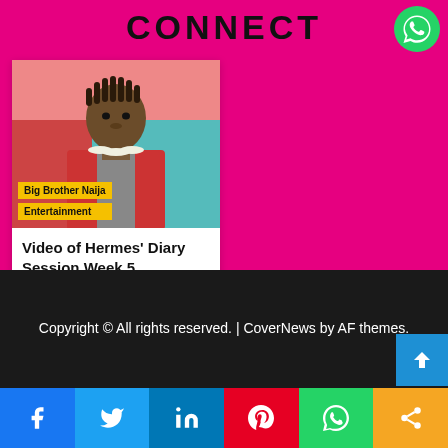CONNECT
[Figure (photo): Person photo used as article thumbnail for Big Brother Naija content]
Big Brother Naija
Entertainment
Video of Hermes' Diary Session Week 5
15 hours ago  Nkafu
Copyright © All rights reserved. | CoverNews by AF themes.